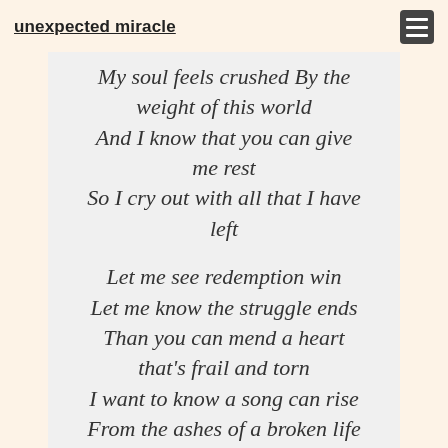unexpected miracle
My soul feels crushed By the weight of this world
And I know that you can give me rest
So I cry out with all that I have left

Let me see redemption win
Let me know the struggle ends
Than you can mend a heart that's frail and torn
I want to know a song can rise
From the ashes of a broken life
And all that's dead inside can be reborn